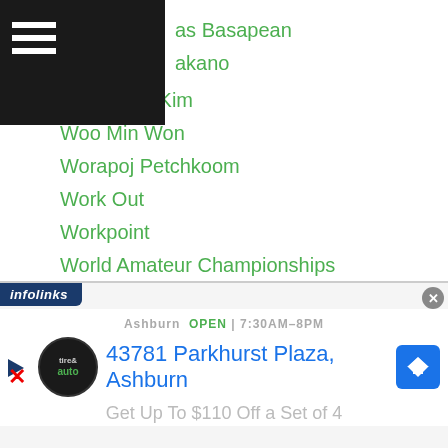as Basapean
akano
Woo Hyun Kim
Woo Min Won
Worapoj Petchkoom
Work Out
Workpoint
World Amateur Championships
World Boxing Society
World Record
WOWOW
WP Boxing
WSB
Wulan Tuolehazi
Wuzhati Nuerlang
[Figure (screenshot): Advertisement banner: infolinks bar, Tire & Auto shop ad showing Ashburn OPEN 7:30AM-8PM, 43781 Parkhurst Plaza Ashburn, Get Up To $110 Off a Set of 4]